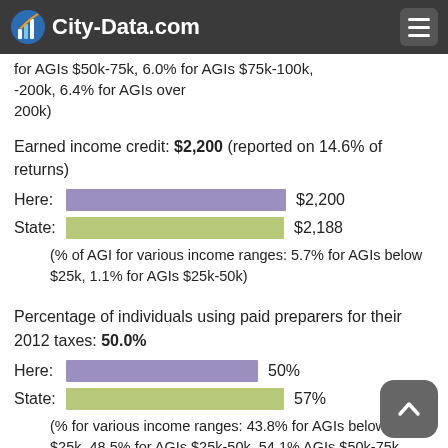City-Data.com
for AGIs $50k-75k, 6.0% for AGIs $75k-100k, -200k, 6.4% for AGIs over 200k)
Earned income credit: $2,200 (reported on 14.6% of returns)
Here: $2,200
State: $2,188
(% of AGI for various income ranges: 5.7% for AGIs below $25k, 1.1% for AGIs $25k-50k)
Percentage of individuals using paid preparers for their 2012 taxes: 50.0%
Here: 50%
State: 57%
(% for various income ranges: 43.8% for AGIs below $25k, 48.5% for AGIs $25k-50k, 54.1% AGIs $50k-75k, 48.5% for AGIs $75k-100k, 58.8% for AGIs $100k-200k, 80.0% for AGIs over